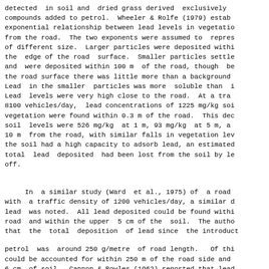detected  in soil and  dried grass derived  exclusively from compounds added to petrol.  Wheeler & Rolfe (1979) established an exponential relationship between lead levels in vegetation and distance from the road.  The two exponents were assumed to  represent particles of different size.  Larger particles were deposited within 30 m of the  edge of the road  surface.  Smaller particles settled slowly and  were deposited within 100 m  of the road, though beyond 30 m of the road surface there was little more than a background level. Lead  in the smaller  particles was more  soluble than in the larger. Lead  levels were very high close to the road.  At a traffic volume of 8100 vehicles/day,  lead concentrations of 1225 mg/kg soil and in vegetation were found within 0.3 m of the road.  This decreased and soil  levels were 526 mg/kg  at 1 m, 93 mg/kg  at 5 m, and 28 mg/kg at 10 m  from the road, with similar falls in vegetation levels.  Although the soil had a high capacity to adsorb lead, an estimated 5-30% of the total  lead  deposited  had been lost from the soil by leaching and run off.
In  a similar study (Ward  et al., 1975) of  a road in England with  a traffic density of 1200 vehicles/day, a similar distribution of lead  was noted.  All lead deposited could be found within 30 m of the road  and within the upper  5 cm of the  soil.  The authors calculated that  the  total  deposition  of lead since  the introduction of leaded petrol  was  around 250 g/metre  of road length.   Of this, 91% could be accounted for within 250 m of the road side and within the top 6 cm  of soil.  Cannon & Bowles (1962) reported that lead levels depend on the traffic volume on the roads and rise to 3000 mg/kg near major road intersections.  Lead is also found in streams adjacent to roads.